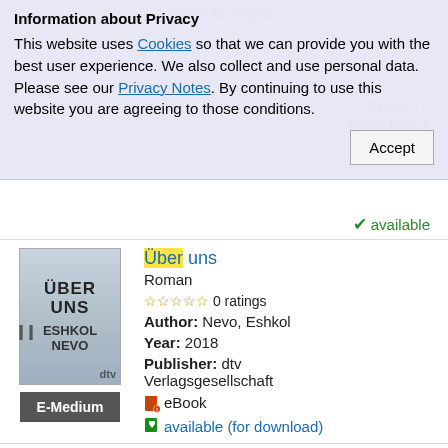Information about Privacy
This website uses Cookies so that we can provide you with the best user experience. We also collect and use personal data. Please see our Privacy Notes. By continuing to use this website you are agreeing to those conditions.
✔ available
[Figure (illustration): Book cover for 'Über uns' by Eshkol Nevo, published by dtv]
E-Medium
Über uns
Roman
☆☆☆☆☆ 0 ratings
Author: Nevo, Eshkol
Year: 2018
Publisher: dtv Verlagsgesellschaft
eBook
available (for download)
[Figure (illustration): Book cover for 'Über Leben' by Dirk Steffens]
Über Leben